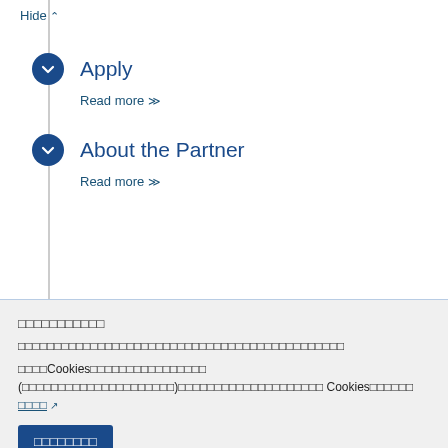Hide ∧
Apply
Read more ∨∨
About the Partner
Read more ∨∨
□□□□□□□□□□□
□□□□□□□□□□□□□□□□□□□□□□□□□□□□□□□□□□□□□□□□□□□□□
□□□□Cookies□□□□□□□□□□□□□□□□ (□□□□□□□□□□□□□□□□□□□□□)□□□□□□□□□□□□□□□□□□□□Cookies□□□□□□ □□□□↗
□□□□□□□□